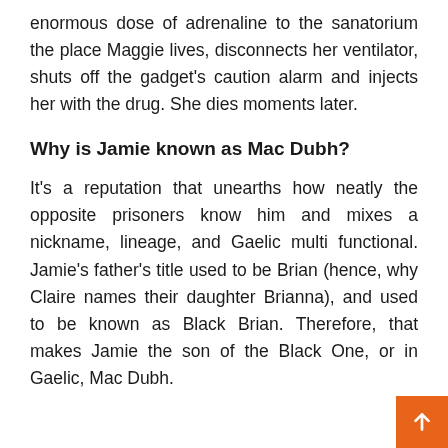enormous dose of adrenaline to the sanatorium the place Maggie lives, disconnects her ventilator, shuts off the gadget's caution alarm and injects her with the drug. She dies moments later.
Why is Jamie known as Mac Dubh?
It's a reputation that unearths how neatly the opposite prisoners know him and mixes a nickname, lineage, and Gaelic multi functional. Jamie's father's title used to be Brian (hence, why Claire names their daughter Brianna), and used to be known as Black Brian. Therefore, that makes Jamie the son of the Black One, or in Gaelic, Mac Dubh.